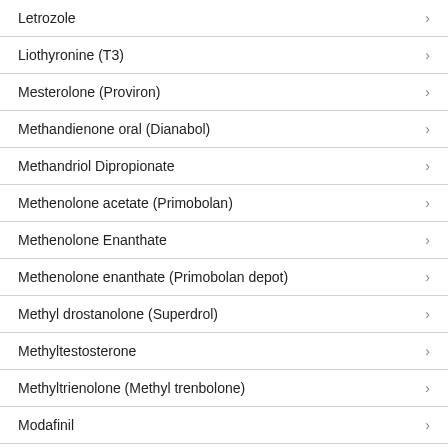Letrozole
Liothyronine (T3)
Mesterolone (Proviron)
Methandienone oral (Dianabol)
Methandriol Dipropionate
Methenolone acetate (Primobolan)
Methenolone Enanthate
Methenolone enanthate (Primobolan depot)
Methyl drostanolone (Superdrol)
Methyltestosterone
Methyltrienolone (Methyl trenbolone)
Modafinil
Nandrolone decanoate (Deca)
Nandrolone phenylpropionate (NPP)